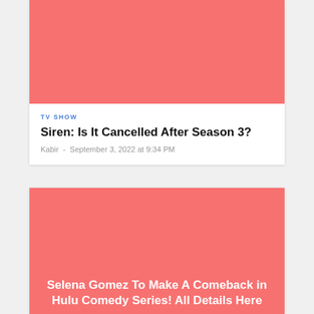[Figure (photo): Salmon/coral colored placeholder image for TV show article]
TV SHOW
Siren: Is It Cancelled After Season 3?
Kabir  -  September 3, 2022 at 9:34 PM
[Figure (photo): Salmon/coral colored placeholder image for Selena Gomez article with title overlay]
Selena Gomez To Make A Comeback in Hulu Comedy Series! All Details Here